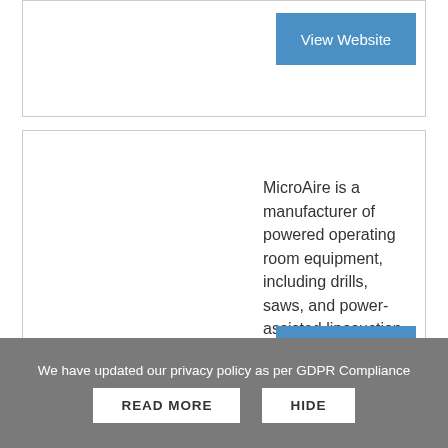[Figure (other): Top card with View Website button, partially visible]
MicroAire is a manufacturer of powered operating room equipment, including drills, saws, and power-assisted liposuction devices. MicroAire also manufactures various orthopedic specialty
View Website
We have updated our privacy policy as per GDPR Compliance
READ MORE
HIDE